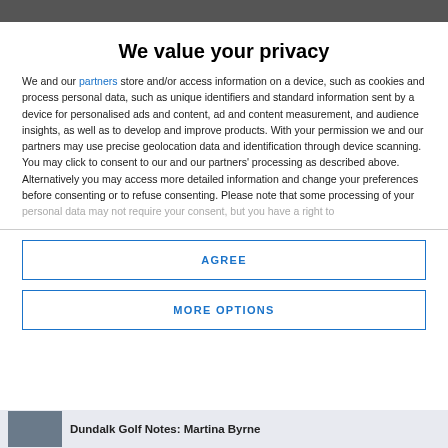[Website header bar]
We value your privacy
We and our partners store and/or access information on a device, such as cookies and process personal data, such as unique identifiers and standard information sent by a device for personalised ads and content, ad and content measurement, and audience insights, as well as to develop and improve products. With your permission we and our partners may use precise geolocation data and identification through device scanning. You may click to consent to our and our partners' processing as described above. Alternatively you may access more detailed information and change your preferences before consenting or to refuse consenting. Please note that some processing of your personal data may not require your consent, but you have a right to
AGREE
MORE OPTIONS
Dundalk Golf Notes: Martina Byrne